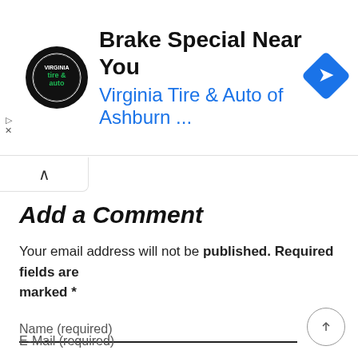[Figure (screenshot): Advertisement banner for Virginia Tire & Auto of Ashburn with logo, headline 'Brake Special Near You', subtitle 'Virginia Tire & Auto of Ashburn ...', and a blue diamond navigation icon]
Add a Comment
Your email address will not be published. Required fields are marked *
Name (required)
E-Mail (required)